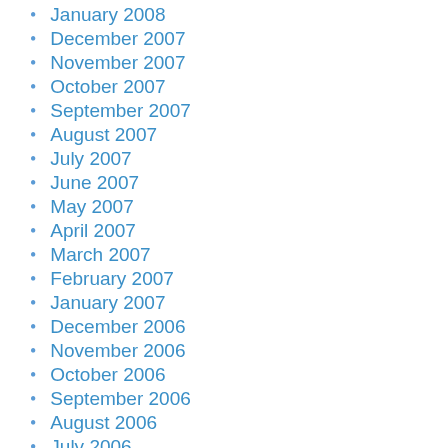January 2008
December 2007
November 2007
October 2007
September 2007
August 2007
July 2007
June 2007
May 2007
April 2007
March 2007
February 2007
January 2007
December 2006
November 2006
October 2006
September 2006
August 2006
July 2006
June 2006